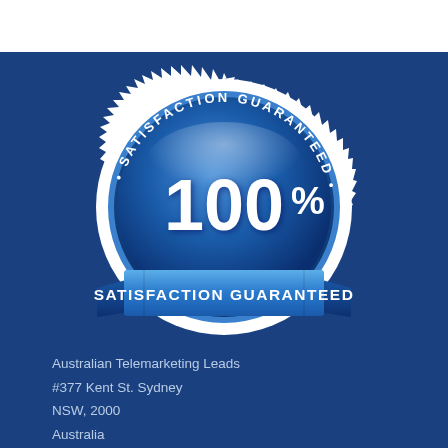[Figure (illustration): 100% Satisfaction Guaranteed badge/seal with blue gradient, white spiky border, ribbon banner reading SATISFACTION GUARANTEED]
Australian Telemarketing Leads
#377 Kent St. Sydney
NSW, 2000
Australia